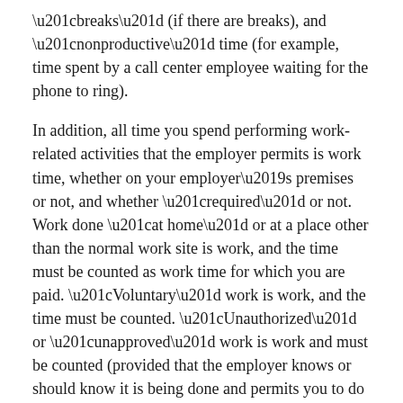“breaks” (if there are breaks), and “nonproductive” time (for example, time spent by a call center employee waiting for the phone to ring).
In addition, all time you spend performing work-related activities that the employer permits is work time, whether on your employer’s premises or not, and whether “required” or not. Work done “at home” or at a place other than the normal work site is work, and the time must be counted as work time for which you are paid. “Voluntary” work is work, and the time must be counted. “Unauthorized” or “unapproved” work is work and must be counted (provided that the employer knows or should know it is being done and permits you to do it anyway). The employer is charged with controlling the work of its employees. If an employer does not wish you to perform work, it must keep you from working if it does not wish to pay for that work. An employer may not accept the benefit(s) of work performed by its nonexempt employees without counting the time in computing the employee’s